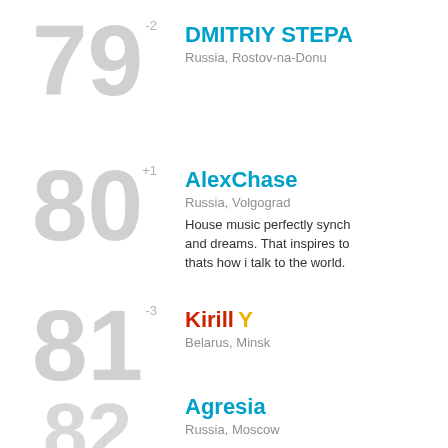79 -2
DMITRIY STEPA
Russia, Rostov-na-Donu
80 +1
AlexChase
Russia, Volgograd
House music perfectly synch and dreams. That inspires to thats how i talk to the world.
81 -3
Kirill Y
Belarus, Minsk
82
Agresia
Russia, Moscow